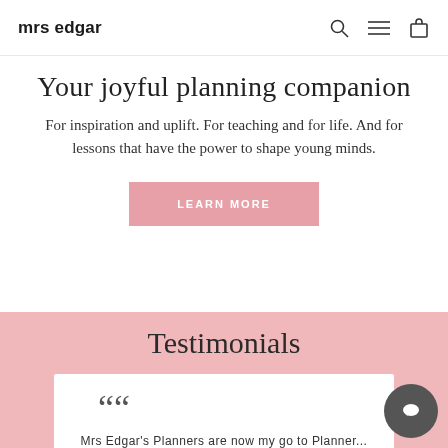mrs edgar
Your joyful planning companion
For inspiration and uplift. For teaching and for life. And for lessons that have the power to shape young minds.
LEARN MORE
Testimonials
Mrs Edgar's Planners are now my go to Planner... love the colours, set out and they are so functio...
Paula Shaw